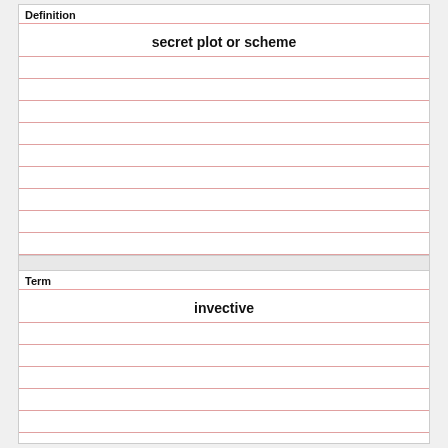Definition
secret plot or scheme
Term
invective